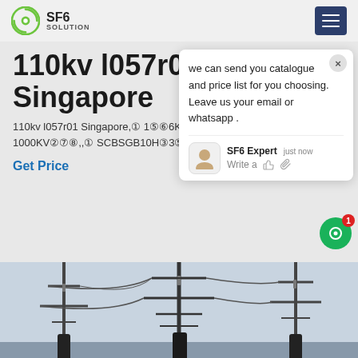SF6 SOLUTION
110kv l057r01 Singapore
110kv l057r01 Singapore,① 1⑤⑥6KV-1000KV②⑦⑧,,① SCBSGB10H③3⑤⑥,
Get Price
we can send you catalogue and price list for you choosing.
Leave us your email or whatsapp .
SF6 Expert   just now
Write a
[Figure (photo): High voltage electrical substation with power lines, insulators and towers against a light sky background]